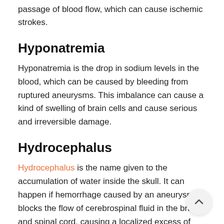passage of blood flow, which can cause ischemic strokes.
Hyponatremia
Hyponatremia is the drop in sodium levels in the blood, which can be caused by bleeding from ruptured aneurysms. This imbalance can cause a kind of swelling of brain cells and cause serious and irreversible damage.
Hydrocephalus
Hydrocephalus is the name given to the accumulation of water inside the skull. It can happen if hemorrhage caused by an aneurysm blocks the flow of cerebrospinal fluid in the brain and spinal cord, causing a localized excess of cerebrospinal fluid.
Hydrocephalus increases intracranial pressure and can